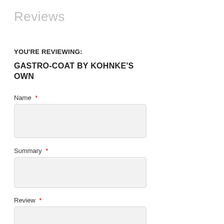Reviews
YOU'RE REVIEWING:
GASTRO-COAT BY KOHNKE'S OWN
Name *
Summary *
Review *